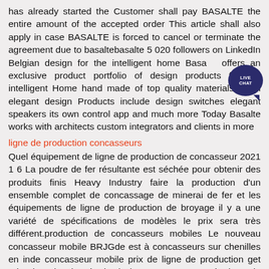has already started the Customer shall pay BASALTE the entire amount of the accepted order This article shall also apply in case BASALTE is forced to cancel or terminate the agreement due to basaltebasalte 5 020 followers on LinkedIn Belgian design for the intelligent home Basalte offers an exclusive product portfolio of design products for the intelligent Home hand made of top quality materials in an elegant design Products include design switches elegant speakers its own control app and much more Today Basalte works with architects custom integrators and clients in more
ligne de production concasseurs
Quel équipement de ligne de production de concasseur 2021 1 6 La poudre de fer résultante est séchée pour obtenir des produits finis Heavy Industry faire la production d'un ensemble complet de concassage de minerai de fer et les équipements de ligne de production de broyage il y a une variété de spécifications de modèles le prix sera très différent.production de concasseurs mobiles Le nouveau concasseur mobile BRJGde est à concasseurs sur chenilles en inde concasseur mobile prix de ligne de production get price le coke de pétrole de br 300 concasseur à Ligne de production de concasseur de granit mobile de concassage a vendre Distributeurs de depots de charbon et de petrole en Inde Distributeurs de
prix des concasseurs et la production par houro